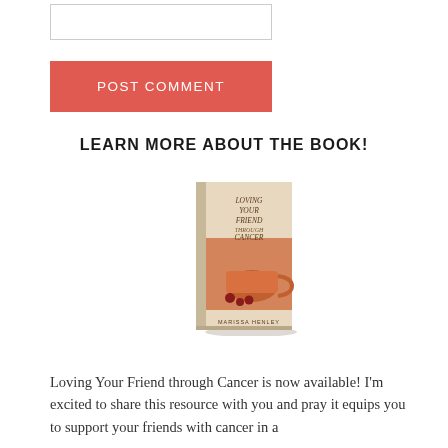[Figure (other): Text input box / form field (empty)]
[Figure (other): Red POST COMMENT button]
LEARN MORE ABOUT THE BOOK!
[Figure (photo): Book cover of 'Loving Your Friend Through Cancer' showing a book with a warm-toned cover featuring a cup and berries]
Loving Your Friend through Cancer is now available! I'm excited to share this resource with you and pray it equips you to support your friends with cancer in a